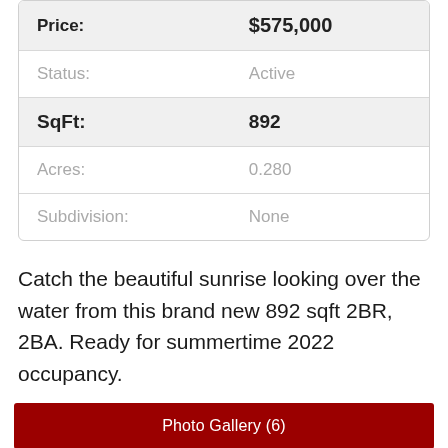| Field | Value |
| --- | --- |
| Price: | $575,000 |
| Status: | Active |
| SqFt: | 892 |
| Acres: | 0.280 |
| Subdivision: | None |
Catch the beautiful sunrise looking over the water from this brand new 892 sqft 2BR, 2BA. Ready for summertime 2022 occupancy.
Photo Gallery (6)
Add to Favorites